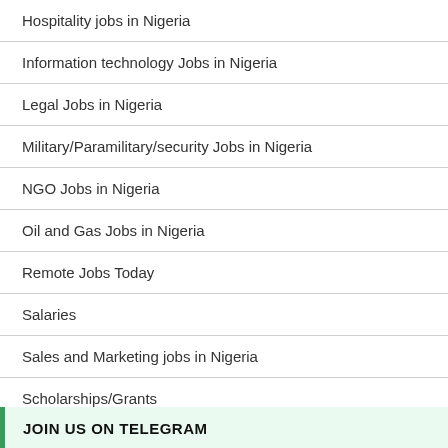Hospitality jobs in Nigeria
Information technology Jobs in Nigeria
Legal Jobs in Nigeria
Military/Paramilitary/security Jobs in Nigeria
NGO Jobs in Nigeria
Oil and Gas Jobs in Nigeria
Remote Jobs Today
Salaries
Sales and Marketing jobs in Nigeria
Scholarships/Grants
Student, NYSC, Internships in Nigeria
Uncategorized
JOIN US ON TELEGRAM